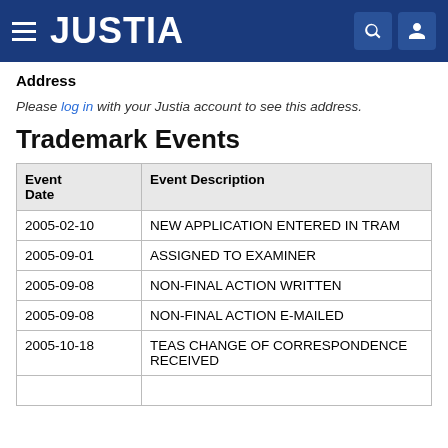JUSTIA
Address
Please log in with your Justia account to see this address.
Trademark Events
| Event Date | Event Description |
| --- | --- |
| 2005-02-10 | NEW APPLICATION ENTERED IN TRAM |
| 2005-09-01 | ASSIGNED TO EXAMINER |
| 2005-09-08 | NON-FINAL ACTION WRITTEN |
| 2005-09-08 | NON-FINAL ACTION E-MAILED |
| 2005-10-18 | TEAS CHANGE OF CORRESPONDENCE RECEIVED |